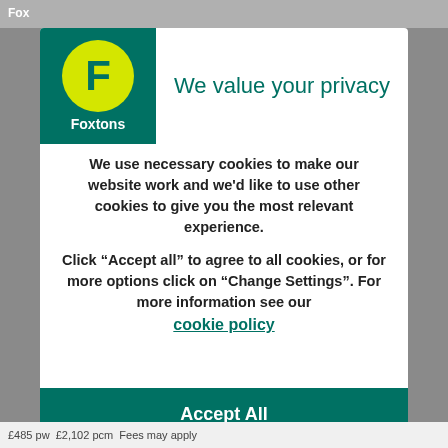[Figure (logo): Foxtons estate agency logo - green square background with yellow circle containing white F letter and Foxtons text below]
We value your privacy
We use necessary cookies to make our website work and we'd like to use other cookies to give you the most relevant experience.
Click “Accept all” to agree to all cookies, or for more options click on “Change Settings”. For more information see our cookie policy
Accept All
£485 pw  £2,102 pcm  Fees may apply